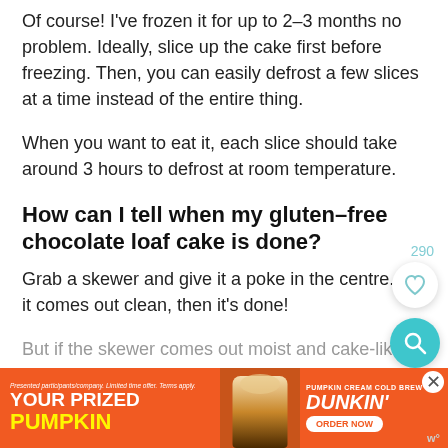Of course! I've frozen it for up to 2–3 months no problem. Ideally, slice up the cake first before freezing. Then, you can easily defrost a few slices at a time instead of the entire thing.
When you want to eat it, each slice should take around 3 hours to defrost at room temperature.
How can I tell when my gluten–free chocolate loaf cake is done?
290
Grab a skewer and give it a poke in the centre. If it comes out clean, then it's done!
But if the skewer comes out moist and cake-like
[Figure (other): Advertisement banner for Dunkin' Pumpkin Cream Cold Brew with orange background, text 'YOUR PRIZED PUMPKIN' and 'DUNKIN' ORDER NOW']